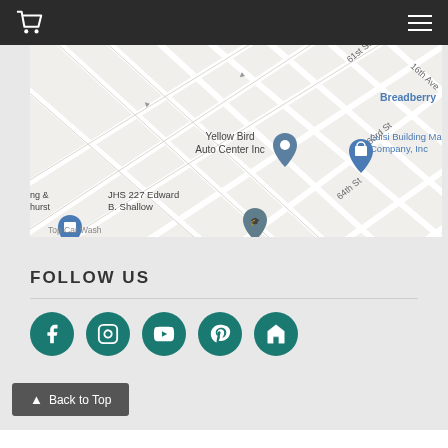[Figure (screenshot): Navigation bar with shopping cart icon on left and hamburger menu on right, dark background]
[Figure (map): Google Maps screenshot showing street map with Yellow Bird Auto Center Inc, Luisi Building Materials Company Inc, Breadberry, JHS 227 Edward B. Shallow, and other landmarks near 16th Ave, 17th Ave, 61st St, 63rd St, 64th St in Brooklyn NY]
FOLLOW US
[Figure (infographic): Five teal circular social media icons: Facebook, Instagram, YouTube, Pinterest, and Houzz]
Back to Top